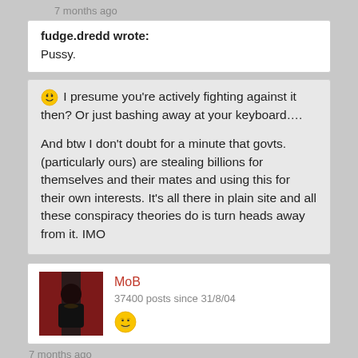7 months ago
fudge.dredd wrote:
Pussy.
😀 I presume you're actively fighting against it then? Or just bashing away at your keyboard....

And btw I don't doubt for a minute that govts. (particularly ours) are stealing billions for themselves and their mates and using this for their own interests. It's all there in plain site and all these conspiracy theories do is turn heads away from it. IMO
MoB
37400 posts since 31/8/04
7 months ago